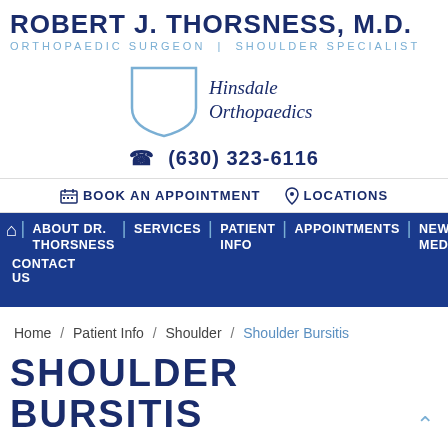ROBERT J. THORSNESS, M.D.
ORTHOPAEDIC SURGEON | SHOULDER SPECIALIST
[Figure (logo): Hinsdale Orthopaedics shield logo with italic text]
(630) 323-6116
BOOK AN APPOINTMENT   LOCATIONS
ABOUT DR. THORSNESS | SERVICES | PATIENT INFO | APPOINTMENTS | NEWS / MEDIA | FAQS | CONTACT US
Home / Patient Info / Shoulder / Shoulder Bursitis
SHOULDER BURSITIS